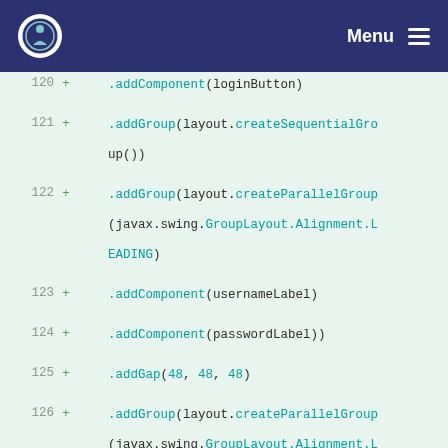Menu
[Figure (screenshot): Code diff view showing Java GroupLayout code lines 120-127 with added lines (green background, + markers). Methods like addComponent, addGroup, addGap shown in teal monospace font.]